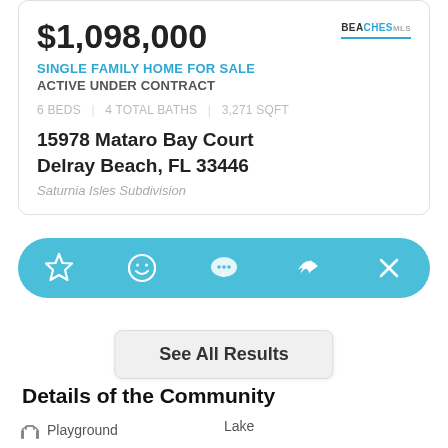$1,098,000
SINGLE FAMILY HOME FOR SALE
ACTIVE UNDER CONTRACT
6 BEDS | 4 TOTAL BATHS | 3,271 SQFT
15978 Mataro Bay Court
Delray Beach, FL 33446
Saturnia Isles Subdivision
[Figure (other): Action bar with icons: star (favorite), smiley face, chat bubble, share arrow, close X]
See All Results
Details of the Community
Playground
Lake
Waterfront Lots
Pool
Beach
Basketball Court